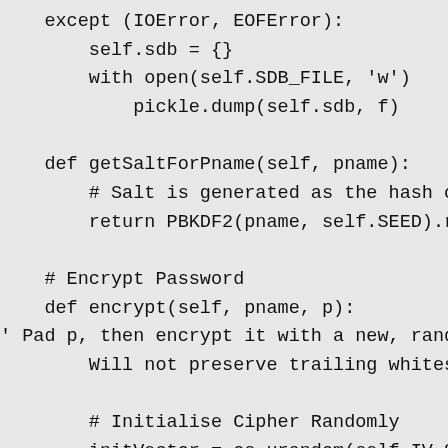except (IOError, EOFError):
        self.sdb = {}
        with open(self.SDB_FILE, 'w')
            pickle.dump(self.sdb, f)

    def getSaltForPname(self, pname):
        # Salt is generated as the hash o
        return PBKDF2(pname, self.SEED).re

    # Encrypt Password
    def encrypt(self, pname, p):
' Pad p, then encrypt it with a new, rando
        Will not preserve trailing whitesp

        # Initialise Cipher Randomly
        initVector = os.urandom(self.IV_SI

        self = self.getSaltForPname(pname)